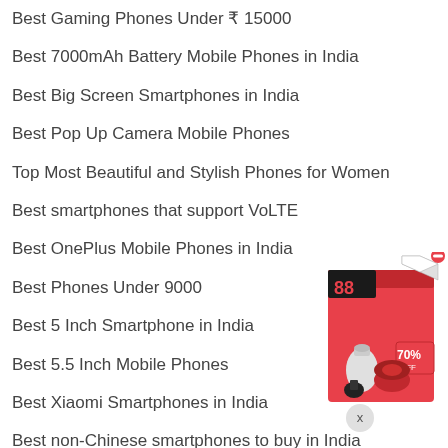Best Gaming Phones Under ₹ 15000
Best 7000mAh Battery Mobile Phones in India
Best Big Screen Smartphones in India
Best Pop Up Camera Mobile Phones
Top Most Beautiful and Stylish Phones for Women
Best smartphones that support VoLTE
Best OnePlus Mobile Phones in India
Best Phones Under 9000
Best 5 Inch Smartphone in India
Best 5.5 Inch Mobile Phones
Best Xiaomi Smartphones in India
Best non-Chinese smartphones to buy in India
[Figure (photo): Advertisement image showing kitchen appliances (blender, cooker) in a red box with 70% off label and a close button]